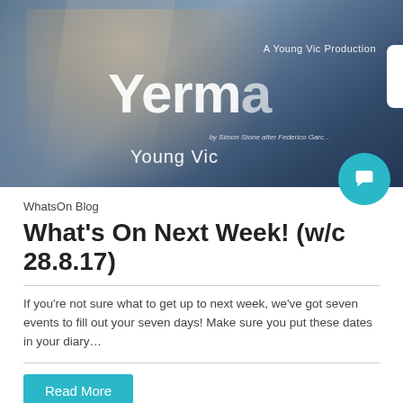[Figure (photo): Promotional photo for Yerma, a Young Vic Production. Shows a person with flowing hair against a textured background. Text overlay reads: 'A Young Vic Production', 'Yerma', 'by Simon Stone after Federico Garcia', 'Young Vic'. A teal chat bubble icon appears in the bottom right corner of the image.]
WhatsOn Blog
What's On Next Week! (w/c 28.8.17)
If you're not sure what to get up to next week, we've got seven events to fill out your seven days! Make sure you put these dates in your diary…
Read More